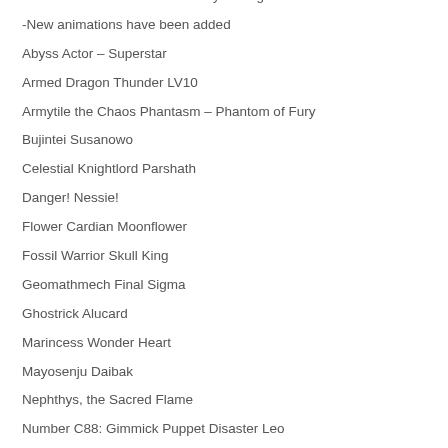let's stick to what we can actually see right now.
-New animations have been added
Abyss Actor – Superstar
Armed Dragon Thunder LV10
Armytile the Chaos Phantasm – Phantom of Fury
Bujintei Susanowo
Celestial Knightlord Parshath
Danger! Nessie!
Flower Cardian Moonflower
Fossil Warrior Skull King
Geomathmech Final Sigma
Ghostrick Alucard
Marincess Wonder Heart
Mayosenju Daibak
Nephthys, the Sacred Flame
Number C88: Gimmick Puppet Disaster Leo
Number C101: Silent Honor DARK
Penguin Brave